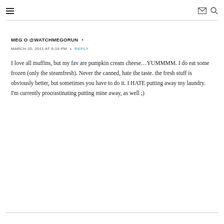≡  ✉ 🔍
MEG O @WATCHMEGORUN •
MARCH 20, 2011 AT 6:19 PM  •  REPLY
I love all muffins, but my fav are pumpkin cream cheese…YUMMMM. I do eat some frozen (only the steamfresh). Never the canned, hate the taste. the fresh stuff is obviously better, but sometimes you have to do it. I HATE putting away my laundry. I'm currently procrastinating putting mine away, as well ;)